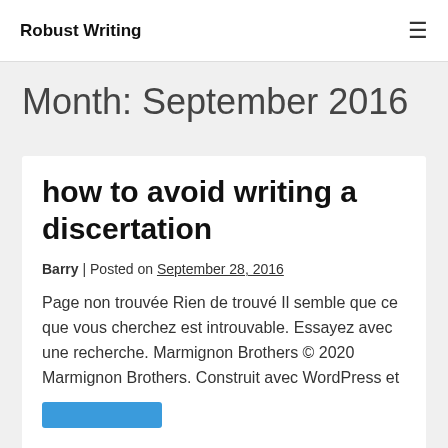Robust Writing
Month: September 2016
how to avoid writing a discertation
Barry | Posted on September 28, 2016
Page non trouvée Rien de trouvé Il semble que ce que vous cherchez est introuvable. Essayez avec une recherche. Marmignon Brothers © 2020 Marmignon Brothers. Construit avec WordPress et